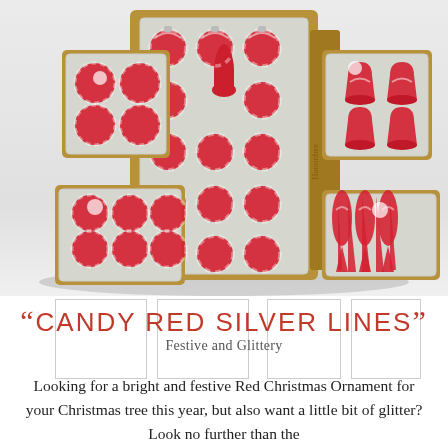[Figure (photo): Multiple boxes of red and silver striped Christmas ornaments arranged together — including round balls, bell shapes, icicle shapes, and a tree topper — displayed in gold/kraft cardboard packaging with clear plastic windows showing the ornaments inside.]
[Figure (photo): Four small thumbnail images of different ornament box sets, shown as small white preview squares.]
“CANDY RED SILVER LINES”
Festive and Glittery
Looking for a bright and festive Red Christmas Ornament for your Christmas tree this year, but also want a little bit of glitter? Look no further than the